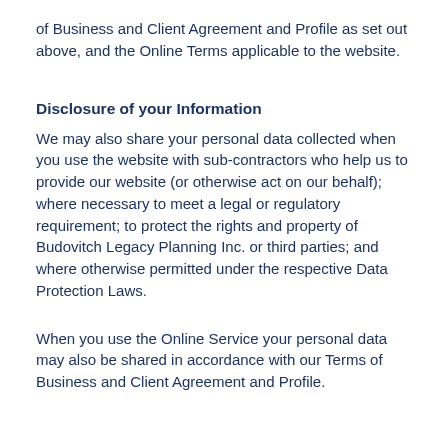of Business and Client Agreement and Profile as set out above, and the Online Terms applicable to the website.
Disclosure of your Information
We may also share your personal data collected when you use the website with sub-contractors who help us to provide our website (or otherwise act on our behalf); where necessary to meet a legal or regulatory requirement; to protect the rights and property of Budovitch Legacy Planning Inc. or third parties; and where otherwise permitted under the respective Data Protection Laws.
When you use the Online Service your personal data may also be shared in accordance with our Terms of Business and Client Agreement and Profile.